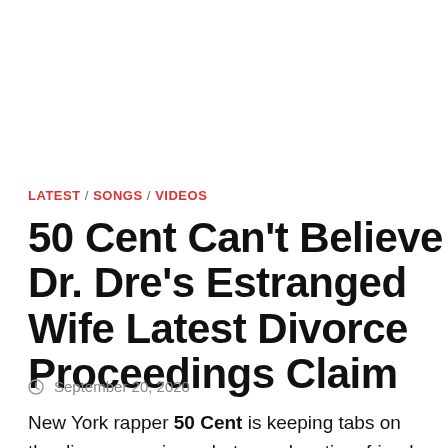LATEST / SONGS / VIDEOS
50 Cent Can't Believe Dr. Dre's Estranged Wife Latest Divorce Proceedings Claim
September 20, 2020
New York rapper 50 Cent is keeping tabs on the divorce craziness between longtime friend and mentor Dr. Dre